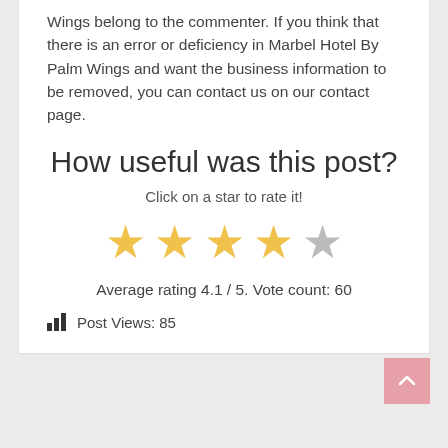Wings belong to the commenter. If you think that there is an error or deficiency in Marbel Hotel By Palm Wings and want the business information to be removed, you can contact us on our contact page.
How useful was this post?
Click on a star to rate it!
[Figure (other): 5-star rating widget showing 4 filled yellow stars and 1 empty grey star]
Average rating 4.1 / 5. Vote count: 60
Post Views: 85